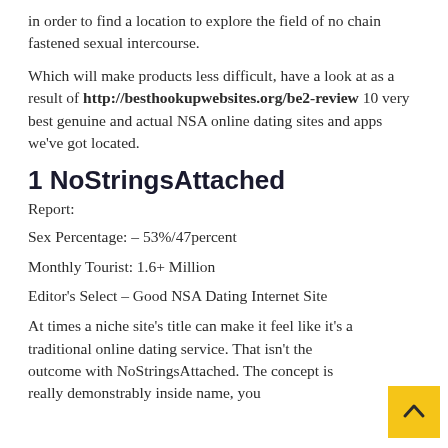in order to find a location to explore the field of no chain fastened sexual intercourse.
Which will make products less difficult, have a look at as a result of http://besthookupwebsites.org/be2-review 10 very best genuine and actual NSA online dating sites and apps we've got located.
1 NoStringsAttached
Report:
Sex Percentage: – 53%/47percent
Monthly Tourist: 1.6+ Million
Editor's Select – Good NSA Dating Internet Site
At times a niche site's title can make it feel like it's a traditional online dating service. That isn't the outcome with NoStringsAttached. The concept is really demonstrably inside name, you